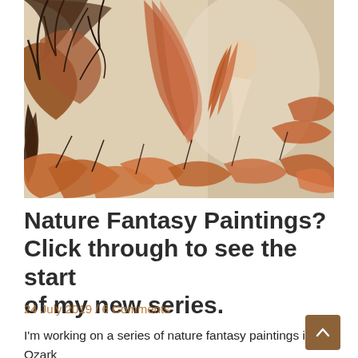[Figure (illustration): A fantasy watercolor painting showing a woman with long flowing auburn hair surrounded by large stylized leaves and plant forms in earthy rust, brown, and black tones on a cream/beige background.]
Nature Fantasy Paintings? Click through to see the start of my new series.
24 July 2019 / 6 Comments
I'm working on a series of nature fantasy paintings in Ozark pigments with my handmade watercolors. Click the title to read